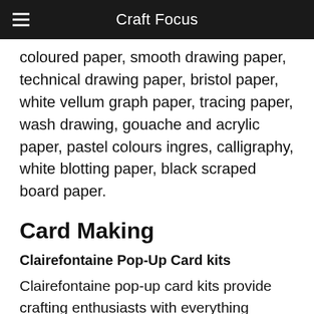Craft Focus
coloured paper, smooth drawing paper, technical drawing paper, bristol paper, white vellum graph paper, tracing paper, wash drawing, gouache and acrylic paper, pastel colours ingres, calligraphy, white blotting paper, black scraped board paper.
Card Making
Clairefontaine Pop-Up Card kits
Clairefontaine pop-up card kits provide crafting enthusiasts with everything needed to create stylish bespoke cards.
Each kit contains an envelope, double card and